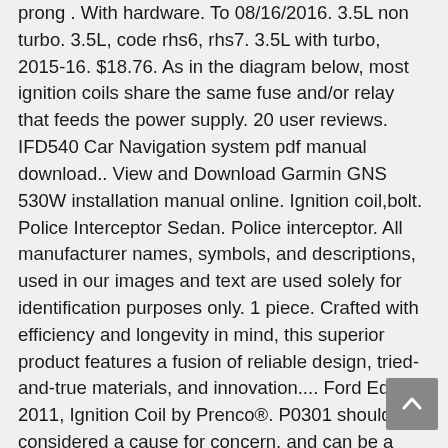prong . With hardware. To 08/16/2016. 3.5L non turbo. 3.5L, code rhs6, rhs7. 3.5L with turbo, 2015-16. $18.76. As in the diagram below, most ignition coils share the same fuse and/or relay that feeds the power supply. 20 user reviews. IFD540 Car Navigation system pdf manual download.. View and Download Garmin GNS 530W installation manual online. Ignition coil,bolt. Police Interceptor Sedan. Police interceptor. All manufacturer names, symbols, and descriptions, used in our images and text are used solely for identification purposes only. 1 piece. Crafted with efficiency and longevity in mind, this superior product features a fusion of reliable design, tried-and-true materials, and innovation.... Ford Edge 2011, Ignition Coil by Prenco®. P0301 should be considered a cause for concern, and can be a threat to the drivability the Ford Edge. Testing the resistance across several terminals on your ignition coil is the only safe and accurate way to tell if the coils is damaged or not. Taurus X. Designed utilizing the latest technology,... Ford Edge with Electronic Ignition with 14 Volt System 2011, Ignition Coil by Spectra Premium®. 5.2L. 3.5l, 3.7l. Motorcraft® Ignition Coil. If you want to restore the